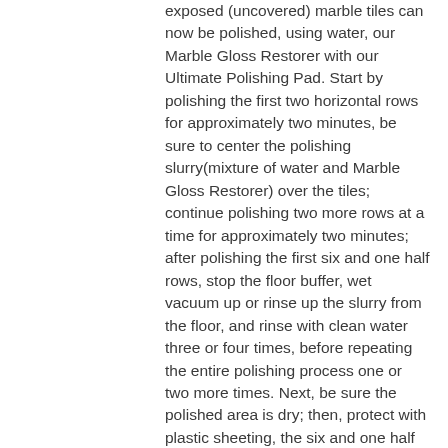exposed (uncovered) marble tiles can now be polished, using water, our Marble Gloss Restorer with our Ultimate Polishing Pad. Start by polishing the first two horizontal rows for approximately two minutes, be sure to center the polishing slurry(mixture of water and Marble Gloss Restorer) over the tiles; continue polishing two more rows at a time for approximately two minutes; after polishing the first six and one half rows, stop the floor buffer, wet vacuum up or rinse up the slurry from the floor, and rinse with clean water three or four times, before repeating the entire polishing process one or two more times. Next, be sure the polished area is dry; then, protect with plastic sheeting, the six and one half horizontal rows by six vertical rows of polished marble. Attach the plastic sheeting to the marble floor on the bottom grout joint of horizontal row six which merges with the top grout joint of horizontal row seven, secure with duct tape the plastic sheeting to this grout joint; also, secure this plastic sheeting to vertical row seven, with duct tape. Next, remove the plastic sheeting from the midpoint of horizontal row seven which extends to the midpoint of vertical row seven (tiles 73 to 79 1/2 down to tiles 133 to 139 1/2). Please note: half of tiles 73 through 79 1/2 are already polished, be sure to spend less time polishing this